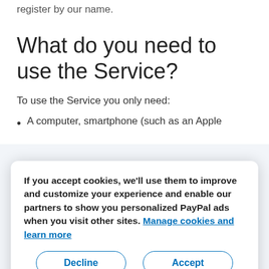register by our name.
What do you need to use the Service?
To use the Service you only need:
A computer, smartphone (such as an Apple
If you accept cookies, we'll use them to improve and customize your experience and enable our partners to show you personalized PayPal ads when you visit other sites. Manage cookies and learn more
Those are the technological requirements. The